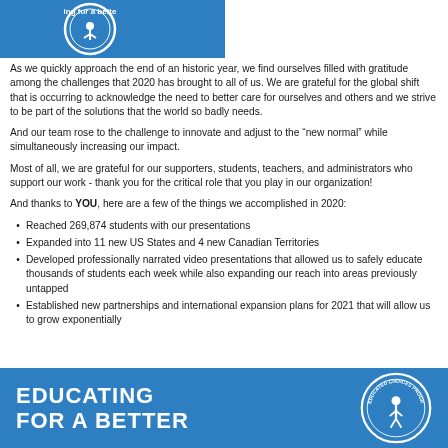[Figure (logo): Partial blue banner with white circular logo and text 'ing for a bette']
As we quickly approach the end of an historic year, we find ourselves filled with gratitude among the challenges that 2020 has brought to all of us. We are grateful for the global shift that is occurring to acknowledge the need to better care for ourselves and others and we strive to be part of the solutions that the world so badly needs.
And our team rose to the challenge to innovate and adjust to the “new normal” while simultaneously increasing our impact.
Most of all, we are grateful for our supporters, students, teachers, and administrators who support our work - thank you for the critical role that you play in our organization!
And thanks to YOU, here are a few of the things we accomplished in 2020:
Reached 269,874 students with our presentations
Expanded into 11 new US States and 4 new Canadian Territories
Developed professionally narrated video presentations that allowed us to safely educate thousands of students each week while also expanding our reach into areas previously untapped
Established new partnerships and international expansion plans for 2021 that will allow us to grow exponentially
[Figure (logo): Blue banner with white bold text 'EDUCATING FOR A BETTER' and circular Educated Choices Program logo on the right]